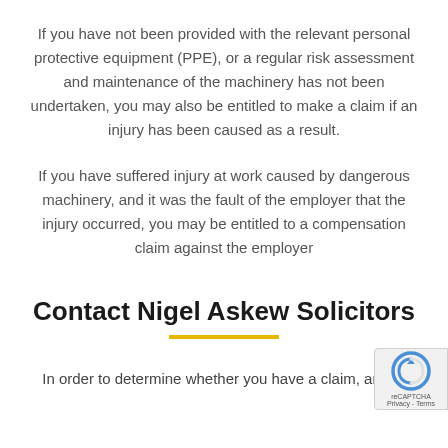If you have not been provided with the relevant personal protective equipment (PPE), or a regular risk assessment and maintenance of the machinery has not been undertaken, you may also be entitled to make a claim if an injury has been caused as a result.
If you have suffered injury at work caused by dangerous machinery, and it was the fault of the employer that the injury occurred, you may be entitled to a compensation claim against the employer
Contact Nigel Askew Solicitors
In order to determine whether you have a claim, and to